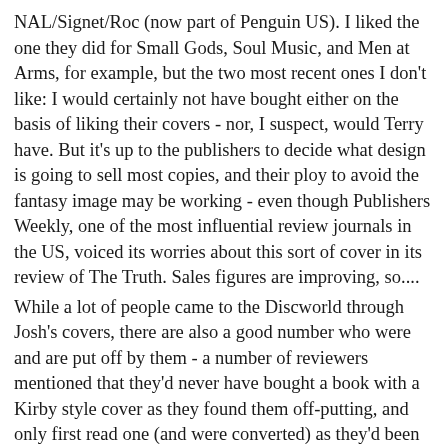NAL/Signet/Roc (now part of Penguin US). I liked the one they did for Small Gods, Soul Music, and Men at Arms, for example, but the two most recent ones I don't like: I would certainly not have bought either on the basis of liking their covers - nor, I suspect, would Terry have. But it's up to the publishers to decide what design is going to sell most copies, and their ploy to avoid the fantasy image may be working - even though Publishers Weekly, one of the most influential review journals in the US, voiced its worries about this sort of cover in its review of The Truth. Sales figures are improving, so.... While a lot of people came to the Discworld through Josh's covers, there are also a good number who were and are put off by them - a number of reviewers mentioned that they'd never have bought a book with a Kirby style cover as they found them off-putting, and only first read one (and were converted) as they'd been given a copy to review, so *had* to open the book and read it. That was why Corgi tried the alternative 'Viritruvian Turtle' cover by Stephen Player, to see whether it would make a difference, but the planned arrangement with W.H.Smith to put these in their general fiction